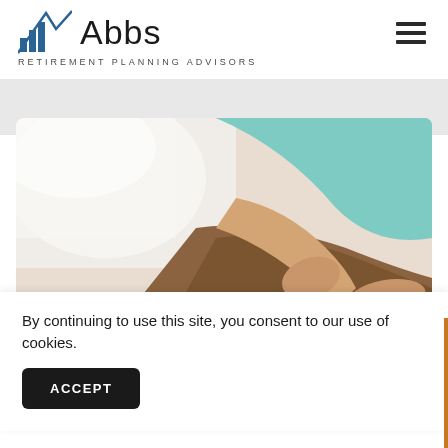[Figure (logo): Abbs Retirement Planning Advisors logo with blue mountain/bar chart icon and text]
[Figure (photo): Person in teal shirt sitting on couch using a calculator with papers, retirement planning concept photo]
By continuing to use this site, you consent to our use of cookies.
ACCEPT